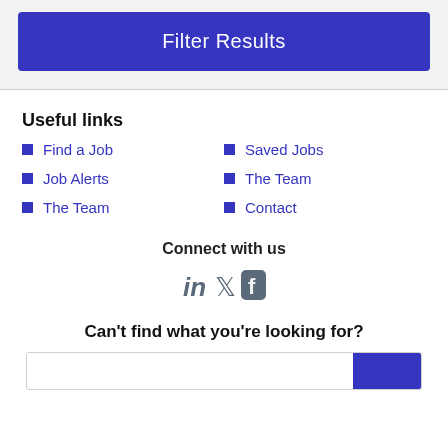Filter Results
Useful links
Find a Job
Job Alerts
The Team
Saved Jobs
The Team
Contact
Connect with us
[Figure (other): Social media icons: LinkedIn, Twitter, Facebook]
Can't find what you're looking for?